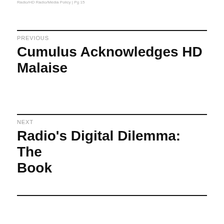Radio/HD Radio/Media Policy | Pg 15
PREVIOUS
Cumulus Acknowledges HD Malaise
NEXT
Radio's Digital Dilemma: The Book